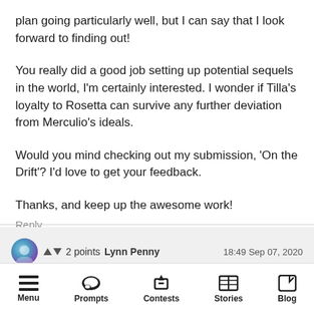plan going particularly well, but I can say that I look forward to finding out!
You really did a good job setting up potential sequels in the world, I'm certainly interested. I wonder if Tilla's loyalty to Rosetta can survive any further deviation from Merculio's ideals.
Would you mind checking out my submission, 'On the Drift'? I'd love to get your feedback.
Thanks, and keep up the awesome work!
Reply
2 points  Lynn Penny  18:49 Sep 07, 2020
Menu  Prompts  Contests  Stories  Blog